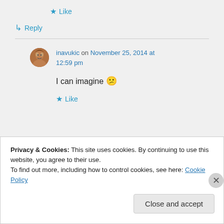★ Like
↳ Reply
inavukic on November 25, 2014 at 12:59 pm
I can imagine 😕
★ Like
Privacy & Cookies: This site uses cookies. By continuing to use this website, you agree to their use. To find out more, including how to control cookies, see here: Cookie Policy
Close and accept